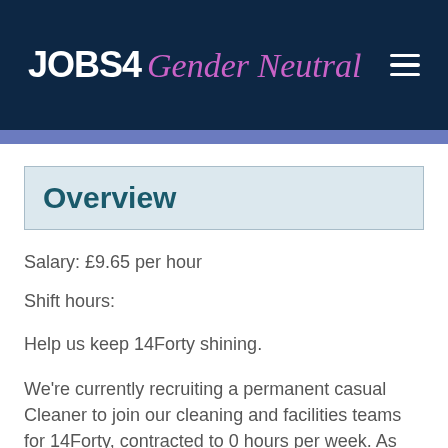JOBS4 Gender Neutral
Overview
Salary: £9.65 per hour
Shift hours:
Help us keep 14Forty shining.
We're currently recruiting a permanent casual Cleaner to join our cleaning and facilities teams for 14Forty, contracted to 0 hours per week. As one of